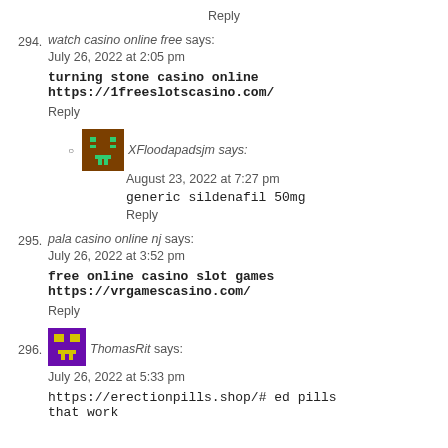Reply
294. watch casino online free says: July 26, 2022 at 2:05 pm
turning stone casino online https://1freeslotscasino.com/
Reply
XFloodapadsjm says: August 23, 2022 at 7:27 pm
generic sildenafil 50mg
Reply
295. pala casino online nj says: July 26, 2022 at 3:52 pm
free online casino slot games https://vrgamescasino.com/
Reply
296. ThomasRit says: July 26, 2022 at 5:33 pm
https://erectionpills.shop/# ed pills that work